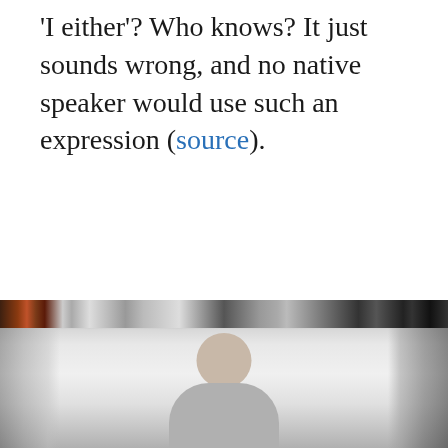'I either'? Who knows? It just sounds wrong, and no native speaker would use such an expression (source).
[Figure (photo): A person, likely seated, photographed in front of a bookshelf background. The image shows the upper body and head of an individual with bookshelves visible on the left and right sides.]